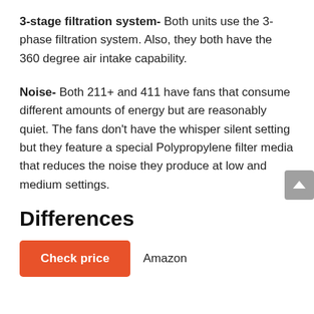3-stage filtration system- Both units use the 3-phase filtration system. Also, they both have the 360 degree air intake capability.
Noise- Both 211+ and 411 have fans that consume different amounts of energy but are reasonably quiet. The fans don’t have the whisper silent setting but they feature a special Polypropylene filter media that reduces the noise they produce at low and medium settings.
Differences
Check price  Amazon